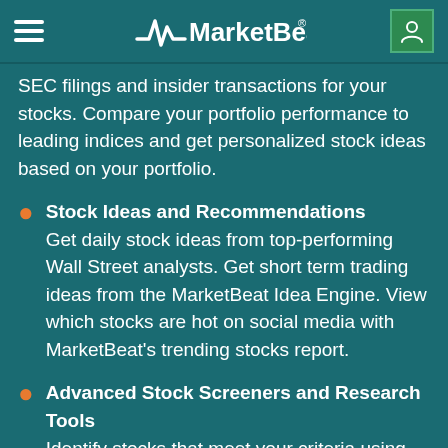MarketBeat
SEC filings and insider transactions for your stocks. Compare your portfolio performance to leading indices and get personalized stock ideas based on your portfolio.
Stock Ideas and Recommendations
Get daily stock ideas from top-performing Wall Street analysts. Get short term trading ideas from the MarketBeat Idea Engine. View which stocks are hot on social media with MarketBeat’s trending stocks report.
Advanced Stock Screeners and Research Tools
Identify stocks that meet your criteria using seven unique stock screeners. See what’s happening in the market right